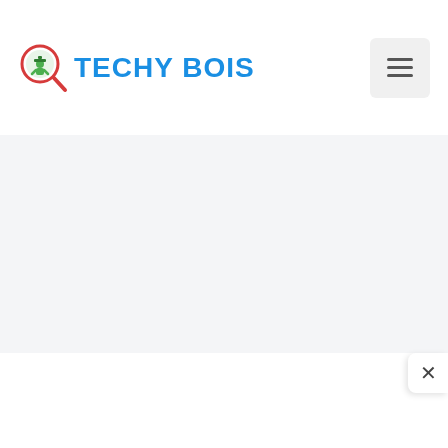[Figure (logo): Techy Bois logo with magnifying glass icon containing a green graduation figure, and bold blue text reading TECHY BOIS]
[Figure (other): Hamburger menu button (three horizontal lines) on a light gray rounded rectangle background]
[Figure (other): Large light gray hero/banner area below the header, mostly empty/placeholder content area]
[Figure (other): Close button (X) on white rounded rectangle in lower right corner]